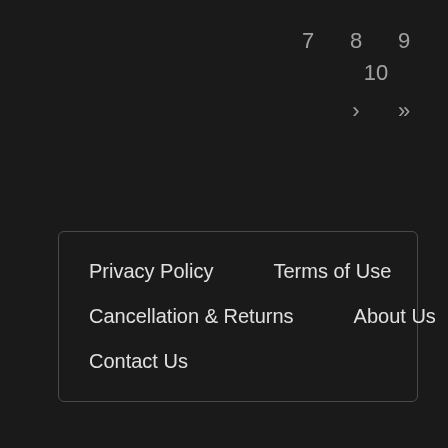7  8  9
10
>  >>
Privacy Policy    Terms of Use    Cancellation & Returns    About Us    Contact Us